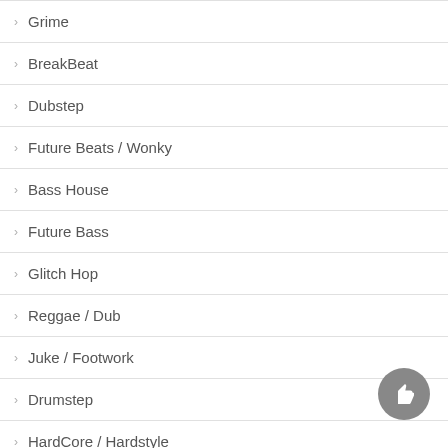Grime
BreakBeat
Dubstep
Future Beats / Wonky
Bass House
Future Bass
Glitch Hop
Reggae / Dub
Juke / Footwork
Drumstep
HardCore / Hardstyle
Future garage